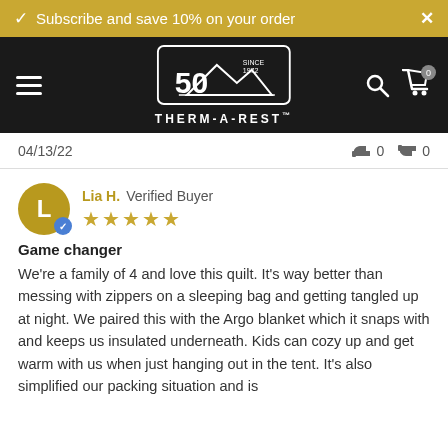Subscribe and save 10% on your order
[Figure (logo): Therm-a-Rest 50th anniversary logo on dark navigation bar]
04/13/22    👍 0    👎 0
Lia H.  Verified Buyer  ★★★★★
Game changer
We're a family of 4 and love this quilt. It's way better than messing with zippers on a sleeping bag and getting tangled up at night. We paired this with the Argo blanket which it snaps with and keeps us insulated underneath. Kids can cozy up and get warm with us when just hanging out in the tent. It's also simplified our packing situation and is